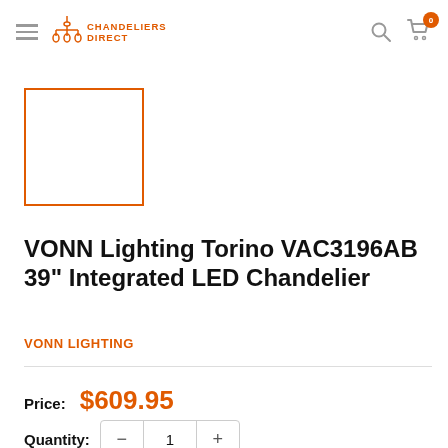CHANDELIERS DIRECT
[Figure (photo): Product thumbnail placeholder box with orange border]
VONN Lighting Torino VAC3196AB 39" Integrated LED Chandelier
VONN LIGHTING
Price: $609.95
Quantity: 1